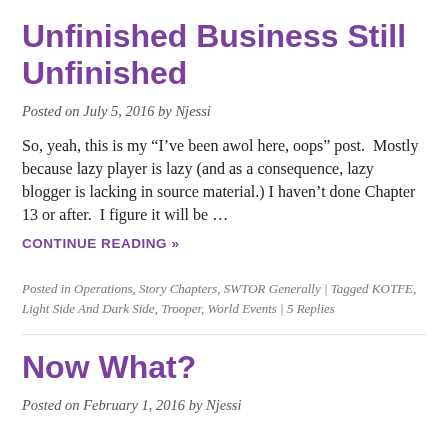Unfinished Business Still Unfinished
Posted on July 5, 2016 by Njessi
So, yeah, this is my “I’ve been awol here, oops” post.  Mostly because lazy player is lazy (and as a consequence, lazy blogger is lacking in source material.) I haven’t done Chapter 13 or after.  I figure it will be …
CONTINUE READING »
Posted in Operations, Story Chapters, SWTOR Generally | Tagged KOTFE, Light Side And Dark Side, Trooper, World Events | 5 Replies
Now What?
Posted on February 1, 2016 by Njessi